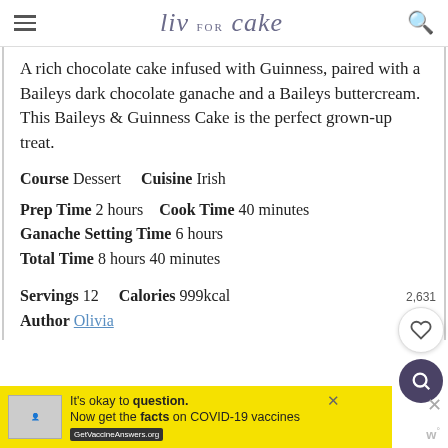liv for cake
A rich chocolate cake infused with Guinness, paired with a Baileys dark chocolate ganache and a Baileys buttercream. This Baileys & Guinness Cake is the perfect grown-up treat.
Course Dessert    Cuisine Irish
Prep Time 2 hours    Cook Time 40 minutes
Ganache Setting Time 6 hours
Total Time 8 hours 40 minutes
Servings 12    Calories 999kcal
Author Olivia
[Figure (other): COVID-19 vaccine information advertisement banner with yellow background. Text: It's okay to question. Now get the facts on COVID-19 vaccines GetVaccineAnswers.org]